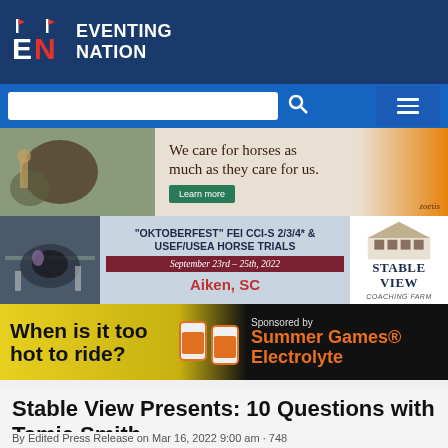EVENTING NATION
[Figure (infographic): Zoetis advertisement: We care for horses as much as they care for us. Learn more.]
[Figure (infographic): Stable View Oktoberfest FEI CCI-S 2/3/4* & USEF/USEA Horse Trials, September 23rd - 25th, 2022, Aiken, SC]
[Figure (infographic): When is it too hot to ride? Sponsored by Summer Games Electrolyte]
Stable View Presents: 10 Questions with Tamie Smith
By Edited Press Release on Mar 16, 2022 9:00 am · 748